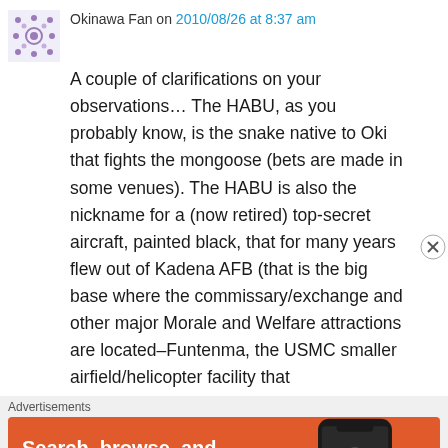Okinawa Fan on 2010/08/26 at 8:37 am
A couple of clarifications on your observations… The HABU, as you probably know, is the snake native to Oki that fights the mongoose (bets are made in some venues). The HABU is also the nickname for a (now retired) top-secret aircraft, painted black, that for many years flew out of Kadena AFB (that is the big base where the commissary/exchange and other major Morale and Welfare attractions are located–Funtenma, the USMC smaller airfield/helicopter facility that
Advertisements
[Figure (infographic): DuckDuckGo advertisement banner with orange background. Text reads: Search, browse, and email with more privacy. All in One Free App. Shows a smartphone with DuckDuckGo logo and branding.]